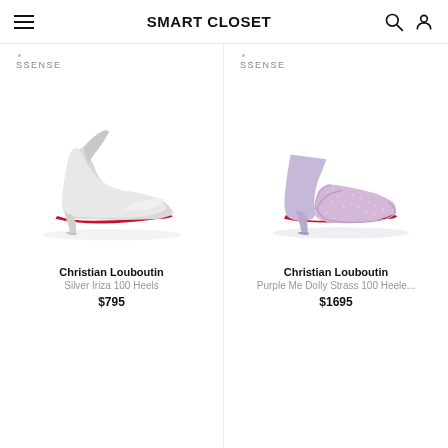SMART CLOSET
SSENSE
SSENSE
[Figure (photo): Silver Christian Louboutin stiletto heel pump with pointed toe and red sole, photographed on white background]
[Figure (photo): Purple/lavender Christian Louboutin open-toe mule with crystal embellished upper and red sole, photographed on white background]
Christian Louboutin
Silver Iriza 100 Heels
$795
Christian Louboutin
Purple Me Dolly Strass 100 Heele...
$1695